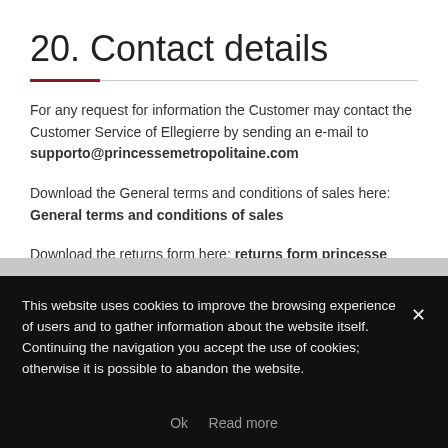20. Contact details
For any request for information the Customer may contact the Customer Service of Ellegierre by sending an e-mail to supporto@princessemetropolitaine.com
Download the General terms and conditions of sales here: General terms and conditions of sales
Download the returns form here: returns form princesse metropolitaine
This website uses cookies to improve the browsing experience of users and to gather information about the website itself. Continuing the navigation you accept the use of cookies; otherwise it is possible to abandon the website.
Ok  Read more